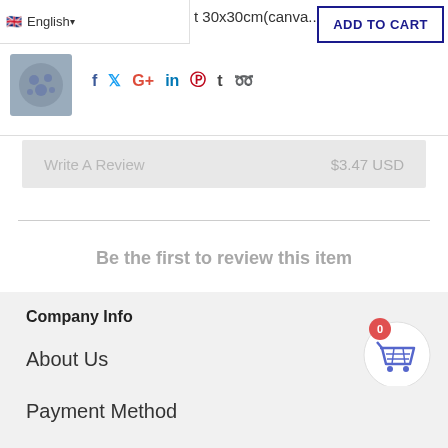English
t 30x30cm(canva...
ADD TO CART
f  t  G+  in  p  t  (whatsapp)
Write A Review    $3.47 USD
Be the first to review this item
Company Info
About Us
Payment Method